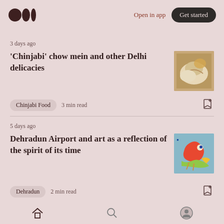Medium logo | Open in app | Get started
3 days ago
'Chinjabi' chow mein and other Delhi delicacies
[Figure (photo): Food photo showing dumplings or momos with filling]
Chinjabi Food   3 min read
5 days ago
Dehradun Airport and art as a reflection of the spirit of its time
[Figure (photo): Colorful art piece with bird figure, likely airport artwork]
Dehradun   2 min read
Home | Search | Profile